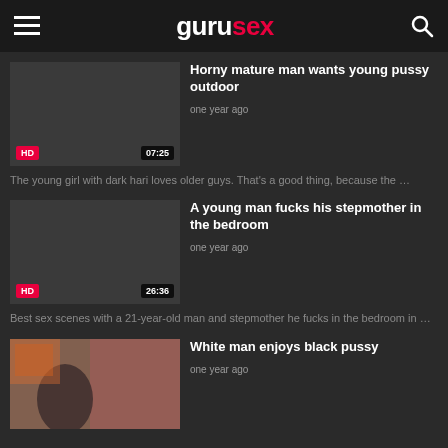gurusex
Horny mature man wants young pussy outdoor
one year ago
HD  07:25
The young girl with dark hari loves older guys. That's a good thing, because the …
A young man fucks his stepmother in the bedroom
one year ago
HD  26:36
Best sex scenes with a 21-year-old man and stepmother he fucks in the bedroom in …
White man enjoys black pussy
one year ago